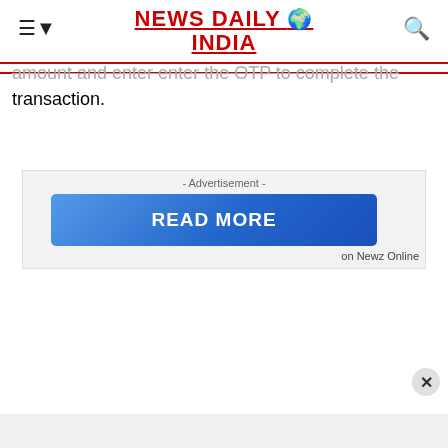NEWS DAILY INDIA
amount and then enter the OTP to complete the transaction.
[Figure (screenshot): Advertisement banner with 'READ MORE' blue gradient button and 'on Newz Online' label]